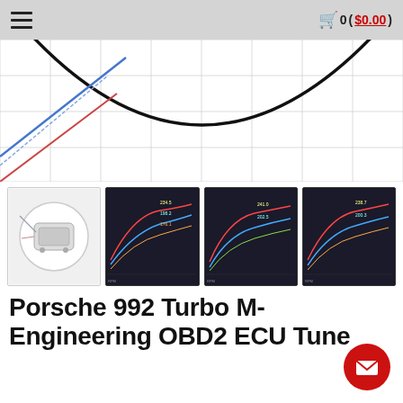☰  🛒 0 ($0.00)
[Figure (continuous-plot): Partial product image showing a performance chart with gridlines, diagonal colored lines (blue, red) and a large arc curve at the top of the viewport. This is the main product image scrolled partially.]
[Figure (photo): Thumbnail 1: ECU device hardware photo, circular inset image on white background]
[Figure (screenshot): Thumbnail 2: Dark background performance/dyno chart with colored lines and data readouts]
[Figure (screenshot): Thumbnail 3: Dark background performance/dyno chart with colored lines and data readouts]
[Figure (screenshot): Thumbnail 4: Dark background performance/dyno chart with colored lines and data readouts]
Porsche 992 Turbo M-Engineering OBD2 ECU Tune
$3,495.00
Unlock extra power and increased response on your 992 Turbo with an M-Engineering ECU Tune and do it easily through your OBD2 port without removing your ECU! Safety